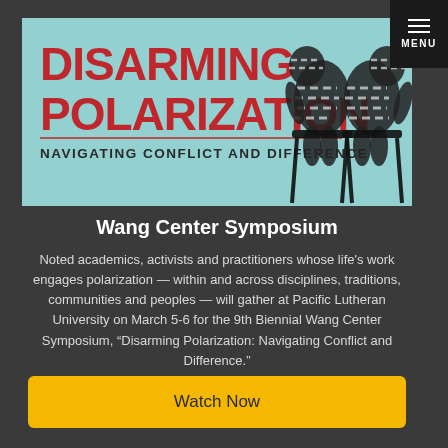[Figure (illustration): Banner for 'Disarming Polarization: Navigating Conflict and Difference' symposium. Light teal/turquoise background with large red bold text 'DISARMING POLARIZATION' and smaller bold text 'NAVIGATING CONFLICT AND DIFFERENCE'. Silhouettes of two figures sitting back-to-back on chairs rendered in zebra-stripe pattern.]
Wang Center Symposium
Noted academics, activists and practitioners whose life's work engages polarization — within and across disciplines, traditions, communities and peoples — will gather at Pacific Lutheran University on March 5-6 for the 9th Biennial Wang Center Symposium, “Disarming Polarization: Navigating Conflict and Difference.”
Watch Now